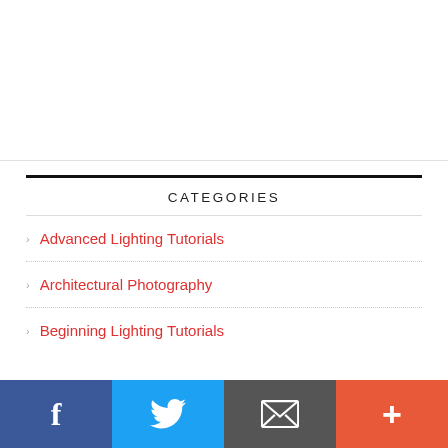CATEGORIES
Advanced Lighting Tutorials
Architectural Photography
Beginning Lighting Tutorials